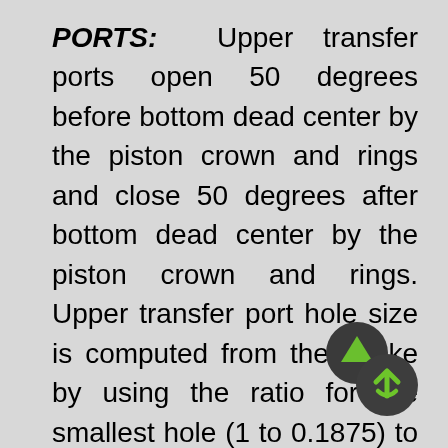PORTS: Upper transfer ports open 50 degrees before bottom dead center by the piston crown and rings and close 50 degrees after bottom dead center by the piston crown and rings. Upper transfer port hole size is computed from the stroke by using the ratio for the smallest hole (1 to 0.1875) to the ratio for the largest hole (1 to 0.2000). Any upper transfer port hole size between these two ratio's is acceptable (see Table II). Do not use port opening sizes of conventional engines as a guide. BOURKE operates on much higher